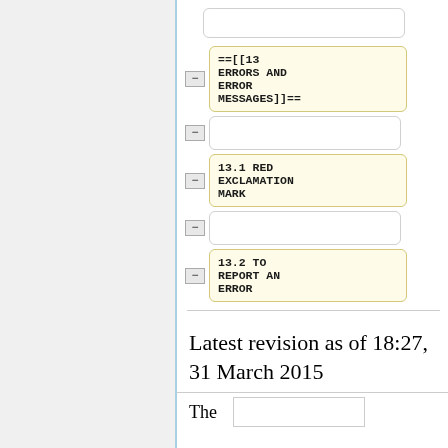[Figure (other): Wikipedia-style article tree navigation showing collapsible nodes. Top empty node box, then node with text '==[[13 ERRORS AND ERROR MESSAGES]]==', an empty node, then node with '13.1 RED EXCLAMATION MARK', another empty node, then node with '13.2 TO REPORT AN ERROR'. Each node has a minus/collapse button on the left.]
Latest revision as of 18:27, 31 March 2015
| The |  |
| --- | --- |